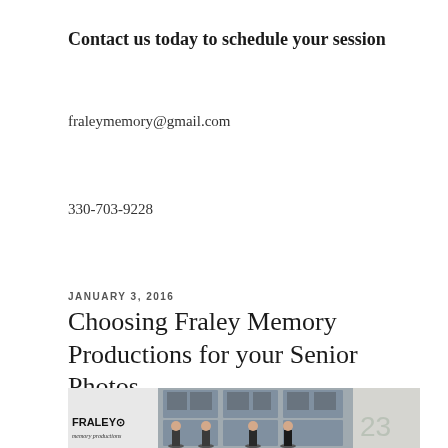Contact us today to schedule your session
fraleymemory@gmail.com
330-703-9228
JANUARY 3, 2016
Choosing Fraley Memory Productions for your Senior Photos
[Figure (photo): Four young women standing in front of an old industrial garage door with broken windows, holding large number signs. A Fraley Memory Productions logo is visible in the lower left.]